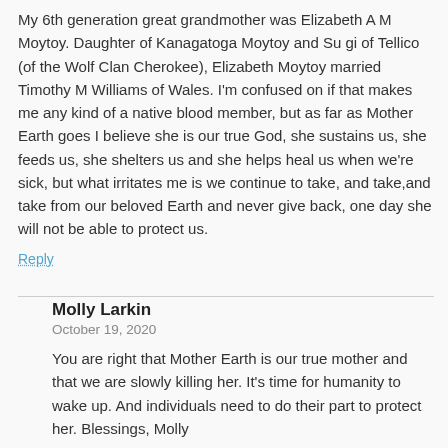My 6th generation great grandmother was Elizabeth A M Moytoy. Daughter of Kanagatoga Moytoy and Su gi of Tellico (of the Wolf Clan Cherokee), Elizabeth Moytoy married Timothy M Williams of Wales. I'm confused on if that makes me any kind of a native blood member, but as far as Mother Earth goes I believe she is our true God, she sustains us, she feeds us, she shelters us and she helps heal us when we're sick, but what irritates me is we continue to take, and take,and take from our beloved Earth and never give back, one day she will not be able to protect us.
Reply
Molly Larkin
October 19, 2020
You are right that Mother Earth is our true mother and that we are slowly killing her. It's time for humanity to wake up. And individuals need to do their part to protect her. Blessings, Molly